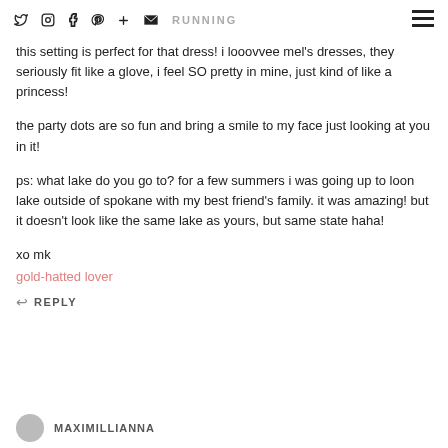RUNNING (social icons: twitter, instagram, facebook, pinterest, plus, email) (hamburger menu)
this setting is perfect for that dress! i looovvee mel's dresses, they seriously fit like a glove, i feel SO pretty in mine, just kind of like a princess!
the party dots are so fun and bring a smile to my face just looking at you in it!
ps: what lake do you go to? for a few summers i was going up to loon lake outside of spokane with my best friend's family. it was amazing! but it doesn't look like the same lake as yours, but same state haha!
xo mk
gold-hatted lover
REPLY
MAXIMILLIANNA